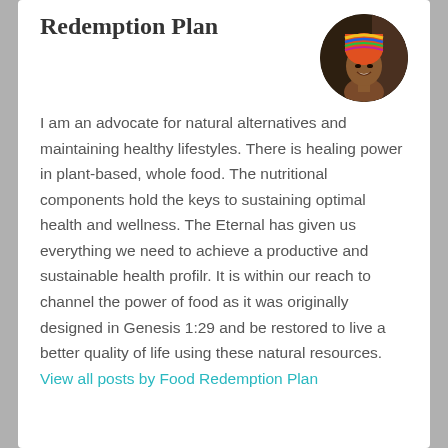Redemption Plan
[Figure (photo): Circular profile photo of a smiling woman wearing a colorful head wrap, against a dark background.]
I am an advocate for natural alternatives and maintaining healthy lifestyles. There is healing power in plant-based, whole food. The nutritional components hold the keys to sustaining optimal health and wellness. The Eternal has given us everything we need to achieve a productive and sustainable health profilr. It is within our reach to channel the power of food as it was originally designed in Genesis 1:29 and be restored to live a better quality of life using these natural resources. View all posts by Food Redemption Plan